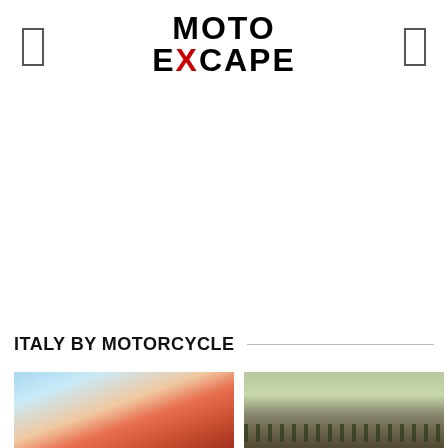MOTO EXCAPE
[Figure (photo): Advertisement / blank white space area below header]
ITALY BY MOTORCYCLE
[Figure (photo): Colorful sky thumbnail photo — pink, blue, orange tones, partial building visible at bottom]
[Figure (photo): Countryside landscape thumbnail — green fields, cypress trees, overcast sky]